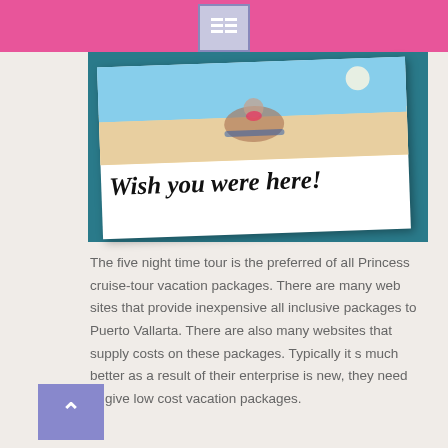[Figure (illustration): Postcard image with photo of beach scene (person on lounge chair) and handwritten text 'Wish you were here!' on white postcard over teal background]
The five night time tour is the preferred of all Princess cruise-tour vacation packages. There are many web sites that provide inexpensive all inclusive packages to Puerto Vallarta. There are also many websites that supply costs on these packages. Typically it s much better as a result of their enterprise is new, they need to give low cost vacation packages.